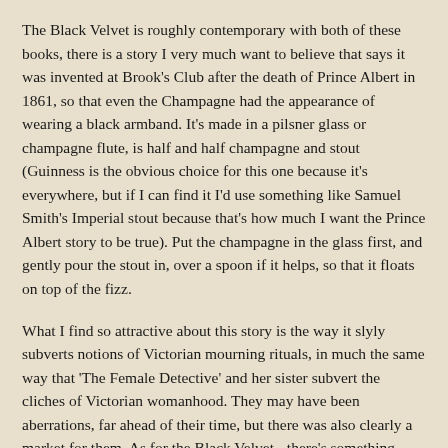The Black Velvet is roughly contemporary with both of these books, there is a story I very much want to believe that says it was invented at Brook's Club after the death of Prince Albert in 1861, so that even the Champagne had the appearance of wearing a black armband. It's made in a pilsner glass or champagne flute, is half and half champagne and stout (Guinness is the obvious choice for this one because it's everywhere, but if I can find it I'd use something like Samuel Smith's Imperial stout because that's how much I want the Prince Albert story to be true). Put the champagne in the glass first, and gently pour the stout in, over a spoon if it helps, so that it floats on top of the fizz.
What I find so attractive about this story is the way it slyly subverts notions of Victorian mourning rituals, in much the same way that 'The Female Detective' and her sister subvert the cliches of Victorian womanhood. They may have been aberrations, far ahead of their time, but there was also clearly a market for them. As for the Black Velvet - there's something affectionately tongue in cheek about drinking it as a tribute to the departed.